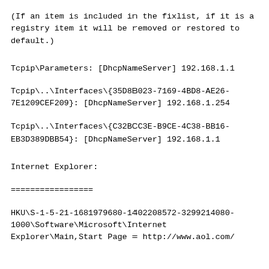(If an item is included in the fixlist, if it is a registry item it will be removed or restored to default.)
Tcpip\Parameters: [DhcpNameServer] 192.168.1.1
Tcpip\..\Interfaces\{35D8B023-7169-4BD8-AE26-7E1209CEF209}: [DhcpNameServer] 192.168.1.254
Tcpip\..\Interfaces\{C32BCC3E-B9CE-4C38-BB16-EB3D389DBB54}: [DhcpNameServer] 192.168.1.1
Internet Explorer:
=================
HKU\S-1-5-21-1681979680-1402208572-3299214080-1000\Software\Microsoft\Internet Explorer\Main,Start Page = http://www.aol.com/